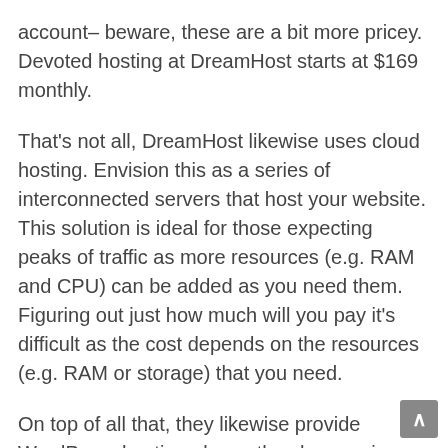account– beware, these are a bit more pricey. Devoted hosting at DreamHost starts at $169 monthly.
That's not all, DreamHost likewise uses cloud hosting. Envision this as a series of interconnected servers that host your website. This solution is ideal for those expecting peaks of traffic as more resources (e.g. RAM and CPU) can be added as you need them. Figuring out just how much will you pay it's difficult as the cost depends on the resources (e.g. RAM or storage) that you need.
On top of all that, they likewise provide WordPress hosting plans– they have unique WordPress packages for their shared and VPS hosting. If you 'd like automatic updates, staging areas and devoted WordPress support, you can opt-in for a Managed WordPress account. Shared WordPress hosting